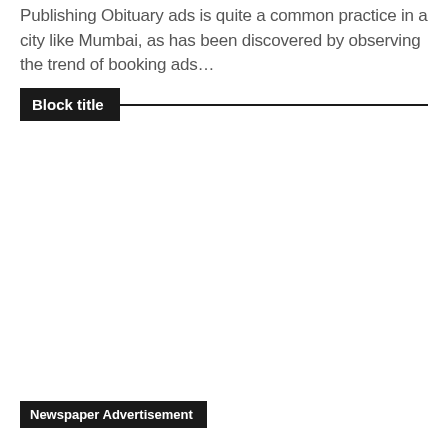Publishing Obituary ads is quite a common practice in a city like Mumbai, as has been discovered by observing the trend of booking ads...
Block title
[Figure (other): Large blank/white image area representing a newspaper advertisement placeholder]
Newspaper Advertisement